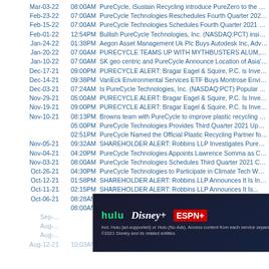Mar-03-22 08:00AM PureCycle, iSustain Recycling introduce PureZero to the Pla...
Feb-23-22 07:00AM PureCycle Technologies Reschedules Fourth Quarter 2021 C...
Feb-15-22 07:00AM PureCycle Technologies Schedules Fourth Quarter 2021 Co...
Feb-01-22 12:54PM Bullish PureCycle Technologies, Inc. (NASDAQ:PCT) insider...
Jan-24-22 01:38PM Aegon Asset Management Uk Plc Buys Autodesk Inc, Advan...
Jan-20-22 07:00AM PURECYCLE TEAMS UP WITH MYTHBUSTERS ALUM, EX...
Jan-10-22 07:00AM SK geo centric and PureCycle Announce Location of Asia's P...
Dec-17-21 09:00PM PURECYCLE ALERT: Bragar Eagel & Squire, P.C. is Investig...
Dec-14-21 09:38PM VanEck Environmental Services ETF Buys Montrose Environ...
Dec-03-21 07:24AM Is PureCycle Technologies, Inc. (NASDAQ:PCT) Popular Am...
Nov-29-21 05:00AM PURECYCLE ALERT: Bragar Eagel & Squire, P.C. Is Investig...
Nov-19-21 09:00PM PURECYCLE ALERT: Bragar Eagel & Squire, P.C. Is Investig...
Nov-10-21 08:13PM Browns team with PureCycle to improve plastic recycling effo...
05:00PM PureCycle Technologies Provides Third Quarter 2021 Update...
02:51PM PureCycle Named the Official Plastic Recycling Partner for th...
Nov-05-21 09:32AM SHAREHOLDER ALERT: Robbins LLP Investigates PureCyc...
Nov-04-21 04:20PM PureCycle Technologies Appoints Lawrence Somma as Chie...
Nov-03-21 08:00AM PureCycle Technologies Schedules Third Quarter 2021 Corp...
Oct-26-21 04:30PM PureCycle Technologies to Participate in Climate Tech Webir...
Oct-12-21 01:58PM SHAREHOLDER ALERT: Robbins LLP Announces It Is Inves...
Oct-11-21 02:15PM SHAREHOLDER ALERT: Robbins LLP Announces It Is ...
Oct-06-21 08:28AM Exclusive: PureCycle to bring plastic processing plant and jol...
08:00AM PureCycle options plastic waste prep facility in Central Florid...
Sep-... (faded)
Aug-... (faded)
[Figure (screenshot): Hulu Disney+ ESPN+ GET THE DISNEY BUNDLE advertisement banner with close button]